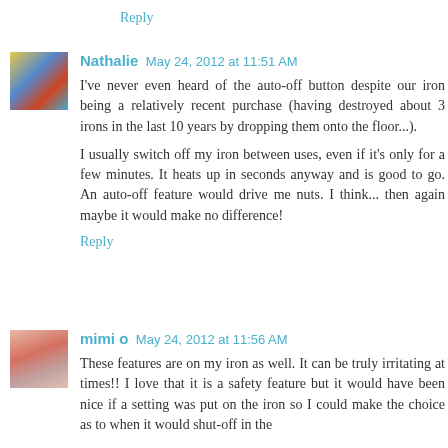Reply
Nathalie  May 24, 2012 at 11:51 AM
I've never even heard of the auto-off button despite our iron being a relatively recent purchase (having destroyed about 3 irons in the last 10 years by dropping them onto the floor...).

I usually switch off my iron between uses, even if it's only for a few minutes. It heats up in seconds anyway and is good to go. An auto-off feature would drive me nuts. I think... then again maybe it would make no difference!
Reply
mimi o  May 24, 2012 at 11:56 AM
These features are on my iron as well. It can be truly irritating at times!! I love that it is a safety feature but it would have been nice if a setting was put on the iron so I could make the choice as to when it would shut-off in the